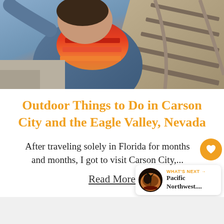[Figure (photo): Person taking a selfie near railroad tracks, wearing a denim jacket and a red/orange striped scarf. Railroad tracks visible in background on right side.]
Outdoor Things to Do in Carson City and the Eagle Valley, Nevada
After traveling solely in Florida for months and months, I got to visit Carson City,...
Read More
WHAT'S NEXT → Pacific Northwest....